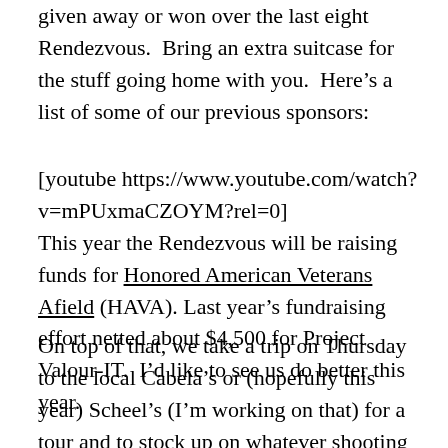given away or won over the last eight Rendezvous.  Bring an extra suitcase for the stuff going home with you.  Here's a list of some of our previous sponsors:
[youtube https://www.youtube.com/watch?v=mPUxmaCZOYM?rel=0]
This year the Rendezvous will be raising funds for Honored American Veterans Afield (HAVA). Last year's fundraising effort netted about $4,500 for Project Valour-IT.  I'd like to see us do better this year.
On top of that, we take a trip on Thursday to the local Cabela's or (hopefully this year) Scheel's (I'm working on that) for a tour and to stock up on whatever shooting accessories we